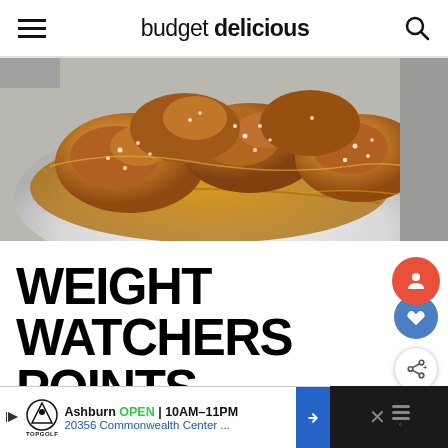budget delicious
[Figure (photo): Close-up photo of glazed chicken pieces with sesame seeds in a bowl with orange-brown sauce]
WEIGHT WATCHERS POINTS
T...
[Figure (other): Advertisement banner: Topgolf Ashburn OPEN 10AM-11PM 20356 Commonwealth Center...]